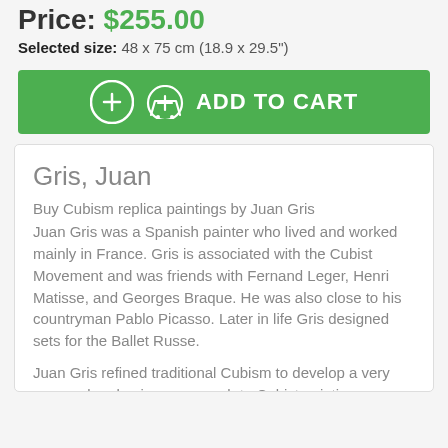Price: $255.00
Selected size: 48 x 75 cm (18.9 x 29.5")
ADD TO CART
Gris, Juan
Buy Cubism replica paintings by Juan Gris
Juan Gris was a Spanish painter who lived and worked mainly in France. Gris is associated with the Cubist Movement and was friends with Fernand Leger, Henri Matisse, and Georges Braque. He was also close to his countryman Pablo Picasso. Later in life Gris designed sets for the Ballet Russe.
Juan Gris refined traditional Cubism to develop a very personal and unique approach to Cubist painting.
“Portrait of Picasso 1912” painted by Juan in 1912 illustrates